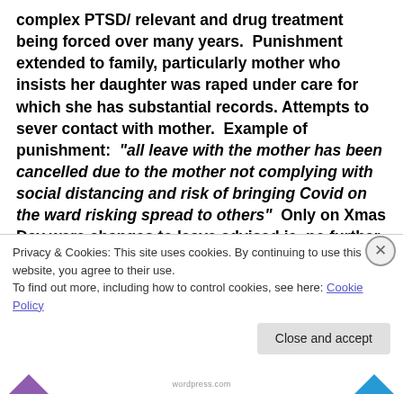complex PTSD/ relevant and drug treatment being forced over many years.  Punishment extended to family, particularly mother who insists her daughter was raped under care for which she has substantial records. Attempts to sever contact with mother.  Example of punishment:  "all leave with the mother has been cancelled due to the mother not complying with social distancing and risk of bringing Covid on the ward risking spread to others"  Only on Xmas Day were changes to leave advised ie, no further leave granted due to Covid
Privacy & Cookies: This site uses cookies. By continuing to use this website, you agree to their use.
To find out more, including how to control cookies, see here: Cookie Policy